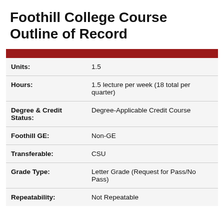Foothill College Course Outline of Record
| Units: | 1.5 |
| Hours: | 1.5 lecture per week (18 total per quarter) |
| Degree & Credit Status: | Degree-Applicable Credit Course |
| Foothill GE: | Non-GE |
| Transferable: | CSU |
| Grade Type: | Letter Grade (Request for Pass/No Pass) |
| Repeatability: | Not Repeatable |